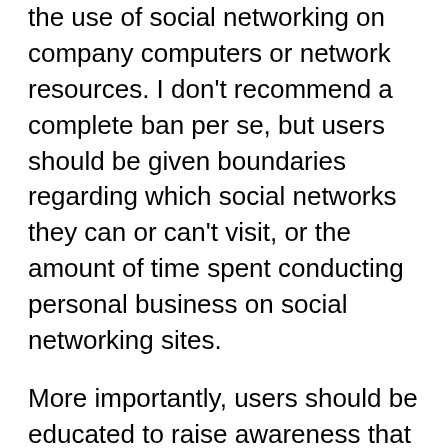the use of social networking on company computers or network resources. I don't recommend a complete ban per se, but users should be given boundaries regarding which social networks they can or can't visit, or the amount of time spent conducting personal business on social networking sites.
More importantly, users should be educated to raise awareness that seemingly innocuous information shared on the Web can still compromise security. For example, if you post on Facebook that you're astrology sign is Virgo, then you send out a Tweet about how you were born the same year that JFK was assassinated, then share a comment online that 28 is your lucky number because it's the date of your birthday, it is possible to combine all of those tidbits and derive that your